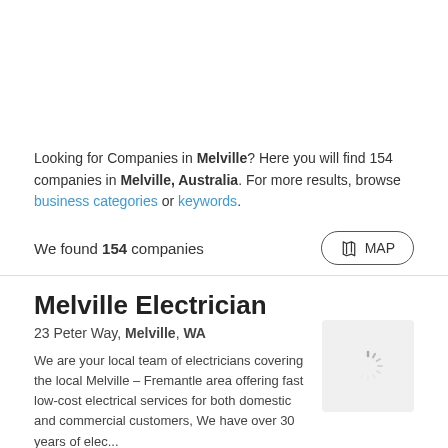Looking for Companies in Melville? Here you will find 154 companies in Melville, Australia. For more results, browse business categories or keywords.
We found 154 companies
Melville Electrician
23 Peter Way, Melville, WA
We are your local team of electricians covering the local Melville – Fremantle area offering fast low-cost electrical services for both domestic and commercial customers, We have over 30 years of elec...
[Figure (other): Loading spinner image placeholder with grey background]